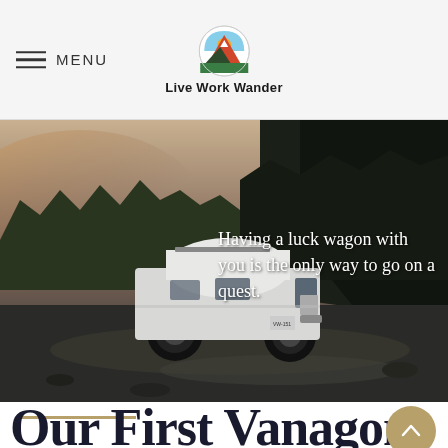MENU | Live Work Wander
[Figure (photo): A white VW Vanagon camper van parked on a rocky riverbed with dark forested mountains in the background. Overlaid text reads: Having a luck wagon with you is the only way to go on a quest.]
Our First Vanagon